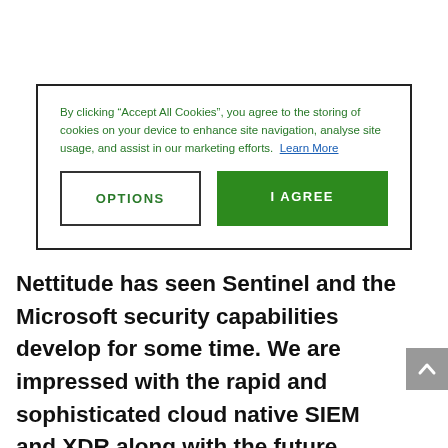By clicking “Accept All Cookies”, you agree to the storing of cookies on your device to enhance site navigation, analyse site usage, and assist in our marketing efforts.  Learn More
OPTIONS
I AGREE
Nettitude has seen Sentinel and the Microsoft security capabilities develop for some time. We are impressed with the rapid and sophisticated cloud native SIEM and XDR along with the future development path and strategy of Microsoft.